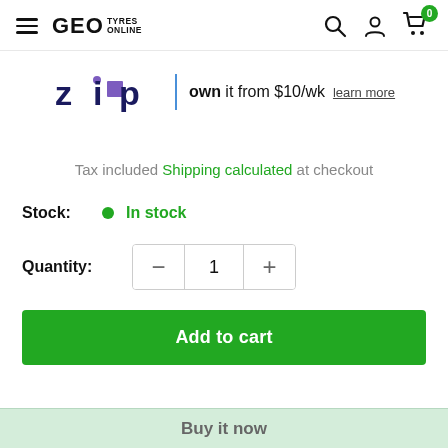GEO TYRES ONLINE
[Figure (logo): Zip logo with text: own it from $10/wk learn more]
Tax included Shipping calculated at checkout
Stock: In stock
Quantity: 1
Add to cart
Buy it now